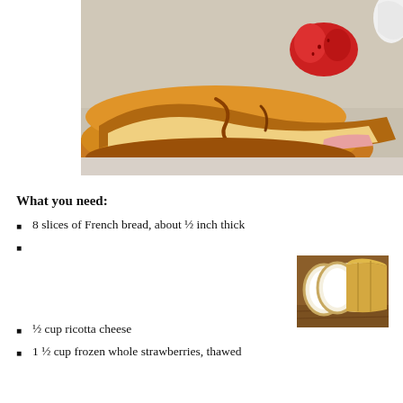[Figure (photo): Close-up photo of French toast topped with strawberries and cream on a white plate]
What you need:
8 slices of French bread, about ½ inch thick
[Figure (photo): Photo of sliced French bread loaf on a wooden surface]
½ cup ricotta cheese
1 ½ cup frozen whole strawberries, thawed